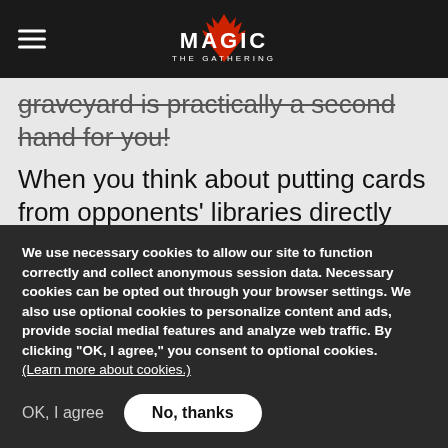Magic: The Gathering
graveyard is practically a second hand for you!
When you think about putting cards from opponents' libraries directly into graveyards, you generally think blue. While "milling" is primarily a blue strategy, black does have some cards that do it well. I particularly like milling for Chainer, since it means that your opponents have limited control of what ends up in their
We use necessary cookies to allow our site to function correctly and collect anonymous session data. Necessary cookies can be opted out through your browser settings. We also use optional cookies to personalize content and ads, provide social medial features and analyze web traffic. By clicking “OK, I agree,” you consent to optional cookies. (Learn more about cookies.)
OK, I agree
No, thanks